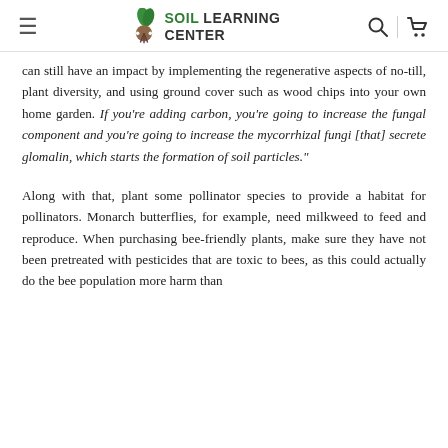SOIL LEARNING CENTER
can still have an impact by implementing the regenerative aspects of no-till, plant diversity, and using ground cover such as wood chips into your own home garden. If you're adding carbon, you're going to increase the fungal component and you're going to increase the mycorrhizal fungi [that] secrete glomalin, which starts the formation of soil particles."
Along with that, plant some pollinator species to provide a habitat for pollinators. Monarch butterflies, for example, need milkweed to feed and reproduce. When purchasing bee-friendly plants, make sure they have not been pretreated with pesticides that are toxic to bees, as this could actually do the bee population more harm than